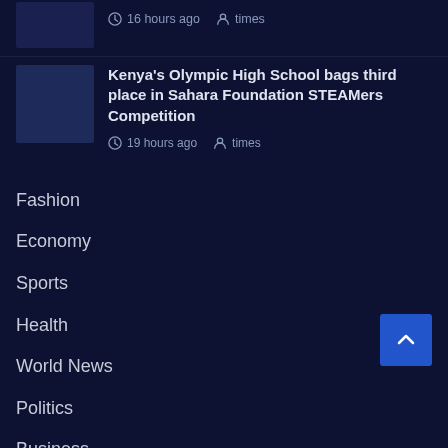16 hours ago  times
Kenya's Olympic High School bags third place in Sahara Foundation STEAMers Competition
19 hours ago  times
Fashion
Economy
Sports
Health
World News
Politics
Business
Uncategorized
Tech